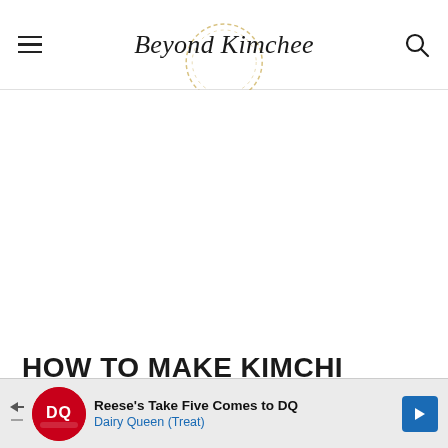Beyond Kimchee
[Figure (other): White advertisement space (blank area)]
HOW TO MAKE KIMCHI PANCAKES WITH CHEESE AND POTATO
[Figure (other): Advertisement banner: Reese's Take Five Comes to DQ - Dairy Queen (Treat)]